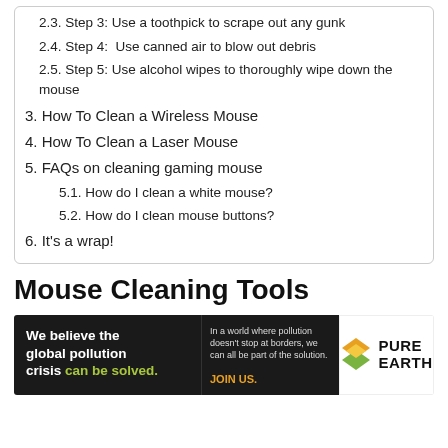2.3. Step 3: Use a toothpick to scrape out any gunk
2.4. Step 4:  Use canned air to blow out debris
2.5. Step 5: Use alcohol wipes to thoroughly wipe down the mouse
3. How To Clean a Wireless Mouse
4. How To Clean a Laser Mouse
5. FAQs on cleaning gaming mouse
5.1. How do I clean a white mouse?
5.2. How do I clean mouse buttons?
6. It's a wrap!
Mouse Cleaning Tools
[Figure (infographic): Advertisement banner for Pure Earth organization with dark background. Left: 'We believe the global pollution crisis can be solved.' in white and green text. Center: 'In a world where pollution doesn't stop at borders, we can all be part of the solution. JOIN US.' Right: Pure Earth logo with diamond/arrow icon in orange and green.]